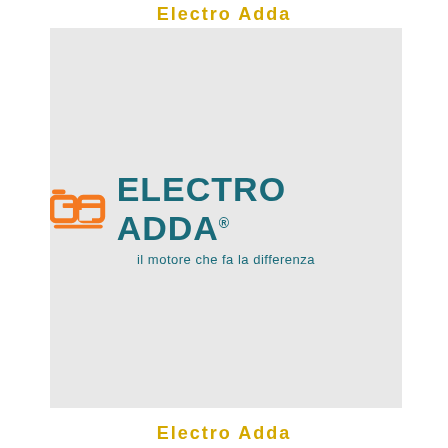Electro Adda
[Figure (logo): Electro Adda company logo on light gray background. Orange stylized 'ea' icon on the left, followed by 'ELECTRO ADDA' in dark teal bold text, with tagline 'il motore che fa la differenza' below in teal.]
Electro Adda